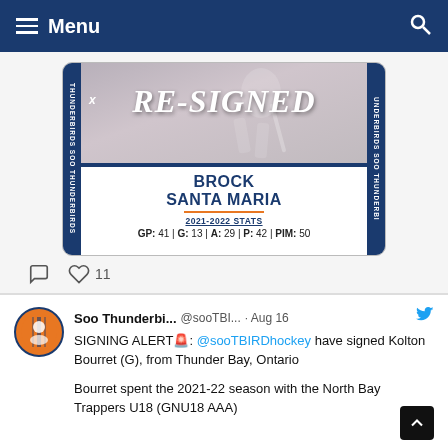Menu
[Figure (photo): Soo Thunderbirds re-signing announcement graphic for Brock Santa Maria. Shows a hockey player skating with overlaid text 'RE-SIGNED', player name 'BROCK SANTA MARIA', and 2021-2022 stats: GP: 41 | G: 13 | A: 29 | P: 42 | PIM: 50]
11 likes
Soo Thunderbi... @sooTBI... · Aug 16 SIGNING ALERT🚨: @sooTBIRDhockey have signed Kolton Bourret (G), from Thunder Bay, Ontario

Bourret spent the 2021-22 season with the North Bay Trappers U18 (GNU18 AAA)